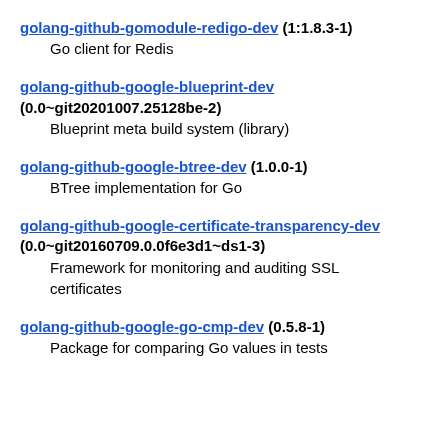golang-github-gomodule-redigo-dev (1:1.8.3-1)
    Go client for Redis
golang-github-google-blueprint-dev (0.0~git20201007.25128be-2)
    Blueprint meta build system (library)
golang-github-google-btree-dev (1.0.0-1)
    BTree implementation for Go
golang-github-google-certificate-transparency-dev (0.0~git20160709.0.0f6e3d1~ds1-3)
    Framework for monitoring and auditing SSL certificates
golang-github-google-go-cmp-dev (0.5.8-1)
    Package for comparing Go values in tests